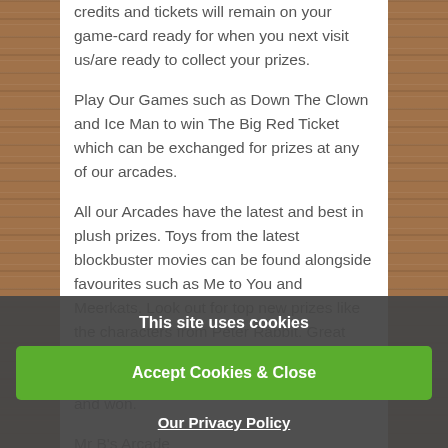credits and tickets will remain on your game-card ready for when you next visit us/are ready to collect your prizes.
Play Our Games such as Down The Clown and Ice Man to win The Big Red Ticket which can be exchanged for prizes at any of our arcades.
All our Arcades have the latest and best in plush prizes. Toys from the latest blockbuster movies can be found alongside favourites such as Me to You and Meerkats. Look out for top new prizes like the characters from Peter Rabbit. Great children's characters like Mickey Mouse and Winnie the Pooh can also be found and won.
Mr B's Arcade
This site uses cookies
Accept Cookies & Close
Our Privacy Policy